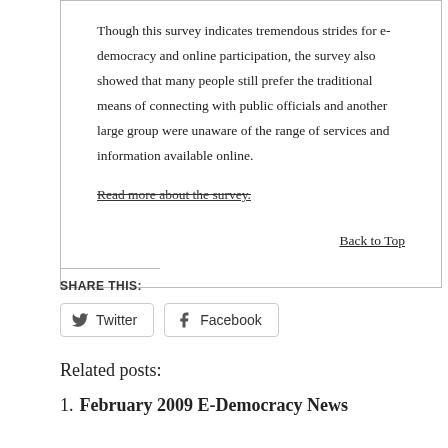Though this survey indicates tremendous strides for e-democracy and online participation, the survey also showed that many people still prefer the traditional means of connecting with public officials and another large group were unaware of the range of services and information available online.
Read more about the survey.
Back to Top
SHARE THIS:
Twitter
Facebook
Related posts:
1. February 2009 E-Democracy News